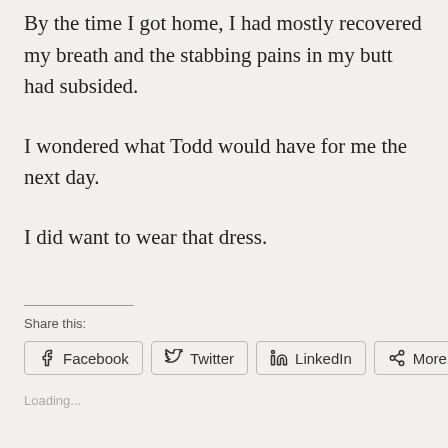By the time I got home, I had mostly recovered my breath and the stabbing pains in my butt had subsided.
I wondered what Todd would have for me the next day.
I did want to wear that dress.
Share this:
Facebook  Twitter  LinkedIn  More
Loading...